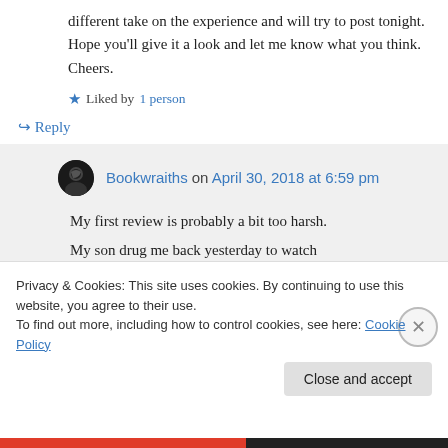different take on the experience and will try to post tonight. Hope you'll give it a look and let me know what you think. Cheers.
★ Liked by 1 person
↪ Reply
Bookwraiths on April 30, 2018 at 6:59 pm
My first review is probably a bit too harsh.
My son drug me back yesterday to watch
Privacy & Cookies: This site uses cookies. By continuing to use this website, you agree to their use.
To find out more, including how to control cookies, see here: Cookie Policy
Close and accept